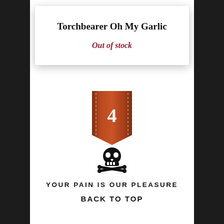Torchbearer Oh My Garlic
Out of stock
[Figure (illustration): Leather ribbon/badge with the number 4 in white text, brown leather texture with stitching detail and a V-notch at the bottom]
[Figure (illustration): Skull and crossbones icon in black]
YOUR PAIN IS OUR PLEASURE
BACK TO TOP